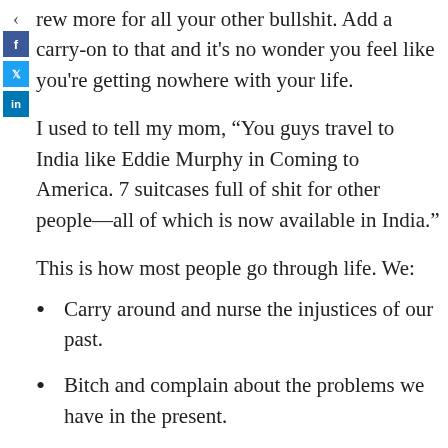rew more for all your other bullshit. Add a carry-on to that and it's no wonder you feel like you're getting nowhere with your life.
I used to tell my mom, “You guys travel to India like Eddie Murphy in Coming to America. 7 suitcases full of shit for other people—all of which is now available in India.”
This is how most people go through life. We:
Carry around and nurse the injustices of our past.
Bitch and complain about the problems we have in the present.